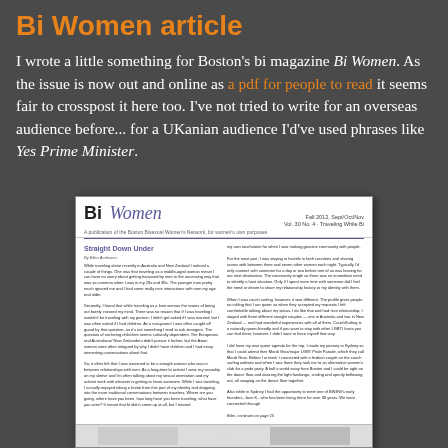Bi Women article
I wrote a little something for Boston's bi magazine Bi Women. As the issue is now out and online as a pdf for people to read it seems fair to crosspost it here too. I've not tried to write for an overseas audience before... for a UKanian audience I'd've used phrases like Yes Prime Minister.
[Figure (screenshot): A scanned magazine page preview of 'Bi Women' Fall 2012, Vol. 30 No. 4, featuring the article 'Straight Down Under' by Ellen Anderson, with two-column text layout and a bottom image strip.]